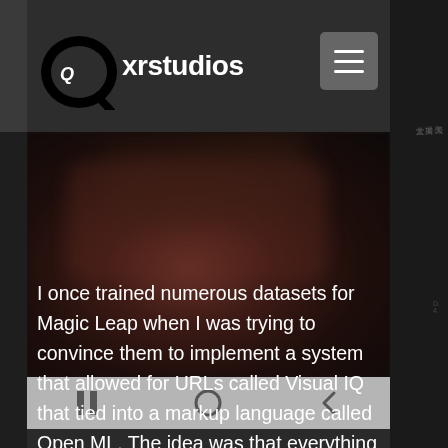[Figure (screenshot): QXR Studios website header with logo showing a Q shape with 'xrstudios' text in white on dark background, and a hamburger menu button on the right]
[Figure (photo): Blurry dark abstract image, appears to be a close-up of some object with dark reddish tones, shown on a mobile phone screen]
[Figure (screenshot): Mobile browser navigation bar with pause, home/circle, and back icons on a light gray background]
I once trained numerous datasets for Magic Leap when I was trying to convince them to implement a system that allowed for URLs called Visual IQ that tied into a markup language called Open ML. The idea was that everything would be classified into something (cup, shoe, chair) and then an